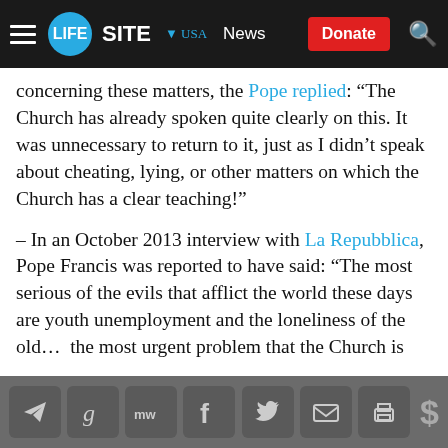LifeSite — USA | News | Donate
concerning these matters, the Pope replied: “The Church has already spoken quite clearly on this. It was unnecessary to return to it, just as I didn’t speak about cheating, lying, or other matters on which the Church has a clear teaching!”

– In an October 2013 interview with La Repubblica, Pope Francis was reported to have said: “The most serious of the evils that afflict the world these days are youth unemployment and the loneliness of the old…  the most urgent problem that the Church is facing.” In the same interview he said: “Proselytism is solemn nonsense, it makes no sense.” And also: “
Share bar: Telegram, Gab, MeWe, Facebook, Twitter, Email, Print, Donate